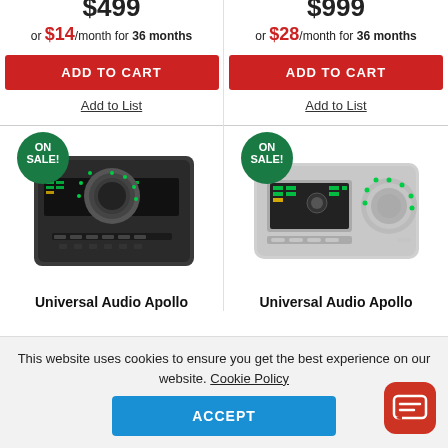$499 or $14/month for 36 months
$999 or $28/month for 36 months
ADD TO CART
ADD TO CART
Add to List
Add to List
[Figure (photo): Universal Audio Apollo Twin X audio interface (dark/black, with green LED ring and display), shown with ON SALE! badge]
[Figure (photo): Universal Audio Apollo Solo audio interface (silver/white, with green LED ring and display), shown with ON SALE! badge]
Universal Audio Apollo
Universal Audio Apollo
This website uses cookies to ensure you get the best experience on our website. Cookie Policy
ACCEPT